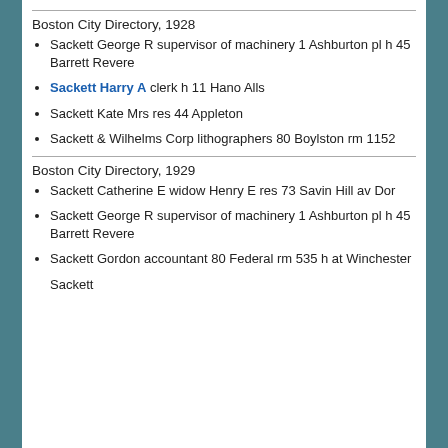Boston City Directory, 1928
Sackett George R supervisor of machinery 1 Ashburton pl h 45 Barrett Revere
Sackett Harry A clerk h 11 Hano Alls
Sackett Kate Mrs res 44 Appleton
Sackett & Wilhelms Corp lithographers 80 Boylston rm 1152
Boston City Directory, 1929
Sackett Catherine E widow Henry E res 73 Savin Hill av Dor
Sackett George R supervisor of machinery 1 Ashburton pl h 45 Barrett Revere
Sackett Gordon accountant 80 Federal rm 535 h at Winchester